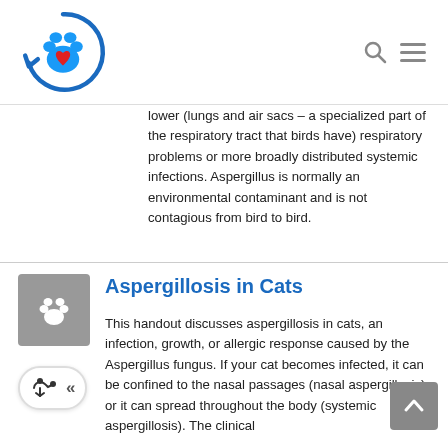[Figure (logo): Pet health website logo: blue paw print with red heart inside a blue circular arrow, with navigation search and menu icons]
lower (lungs and air sacs – a specialized part of the respiratory tract that birds have) respiratory problems or more broadly distributed systemic infections. Aspergillus is normally an environmental contaminant and is not contagious from bird to bird.
Aspergillosis in Cats
This handout discusses aspergillosis in cats, an infection, growth, or allergic response caused by the Aspergillus fungus. If your cat becomes infected, it can be confined to the nasal passages (nasal aspergillosis), or it can spread throughout the body (systemic aspergillosis). The clinical